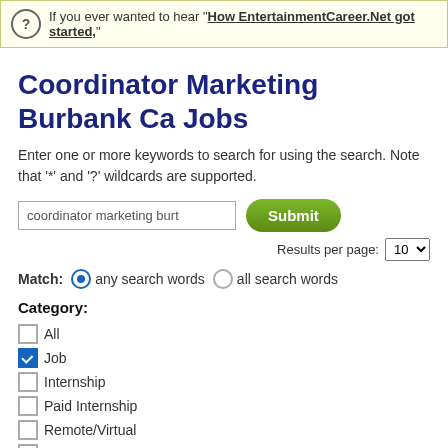If you ever wanted to hear "How EntertainmentCareer.Net got started,"
Coordinator Marketing Burbank Ca Jobs
Enter one or more keywords to search for using the search. Note that '*' and '?' wildcards are supported.
[Figure (screenshot): Search form with text input field showing 'coordinator marketing burt', a green Submit button, and a Results per page dropdown showing 10]
Match: any search words  all search words
Category:
All
Job
Internship
Paid Internship
Remote/Virtual
Company
Support